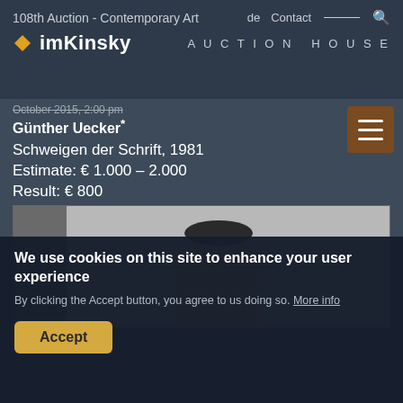108th Auction - Contemporary Art
de  Contact  AUCTION HOUSE
imKinsky
October 2015, 2:00 pm
Günther Uecker*
Schweigen der Schrift, 1981
Estimate: € 1.000 – 2.000
Result: € 800
Auction is closed.
[Figure (photo): Artwork photo showing a hammer-like object with a dark flat head mounted on a wooden block with two brass/gold rods, displayed against a light gray background]
We use cookies on this site to enhance your user experience
By clicking the Accept button, you agree to us doing so. More info
Accept